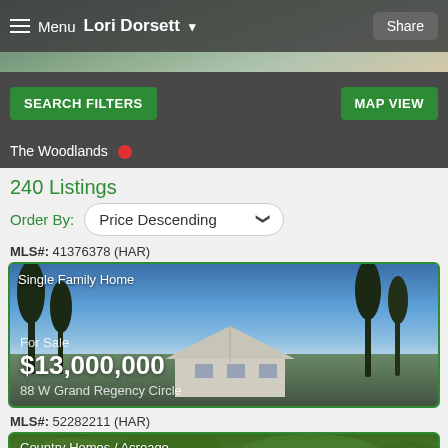Menu  Lori Dorsett  Share
SEARCH FILTERS    MAP VIEW
The Woodlands
240 Listings
Order By: Price Descending
MLS#: 41376378 (HAR)
[Figure (photo): Single Family Home listing photo showing a large house at dusk with trees and blue sky. Text overlay: For Sale $13,000,000  88 W Grand Regency Circle]
MLS#: 52282211 (HAR)
[Figure (photo): Country Homes / Acreage listing photo showing green trees and vegetation]